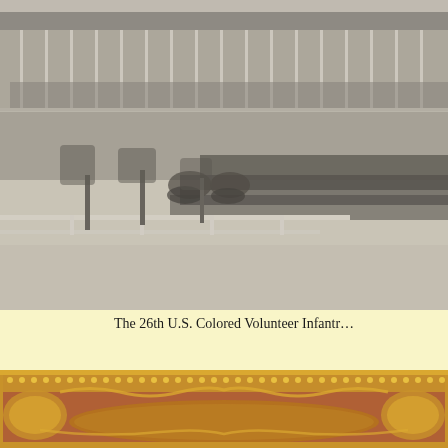[Figure (photo): Black and white historical photograph of the 26th U.S. Colored Volunteer Infantry regiment standing in formation in front of a large multi-story building with porches/verandas. Soldiers are lined up in rows, with officers on horseback visible in the foreground. Several bare trees are visible along a fence.]
The 26th U.S. Colored Volunteer Infantr…
[Figure (photo): Close-up photograph of an ornate gold/gilded decorative frame, likely a daguerreotype or ambrotype case, with elaborate scrollwork and floral motifs, set against a reddish-brown background.]